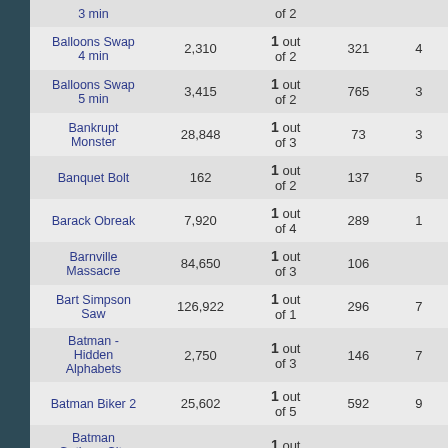| Game | Score | Rank | Players |  |
| --- | --- | --- | --- | --- |
| 3 min |  | out of 2 |  |  |
| Balloons Swap 4 min | 2,310 | 1 out of 2 | 321 | 4 |
| Balloons Swap 5 min | 3,415 | 1 out of 2 | 765 | 3 |
| Bankrupt Monster | 28,848 | 1 out of 3 | 73 | 3 |
| Banquet Bolt | 162 | 1 out of 2 | 137 | 5 |
| Barack Obreak | 7,920 | 1 out of 4 | 289 | 1 |
| Barnville Massacre | 84,650 | 1 out of 3 | 106 |  |
| Bart Simpson Saw | 126,922 | 1 out of 1 | 296 | 7 |
| Batman - Hidden Alphabets | 2,750 | 1 out of 3 | 146 | 7 |
| Batman Biker 2 | 25,602 | 1 out of 5 | 592 | 9 |
| Batman Gotham City Rush | 199,462 | 1 out of 2 | 277 | 1 |